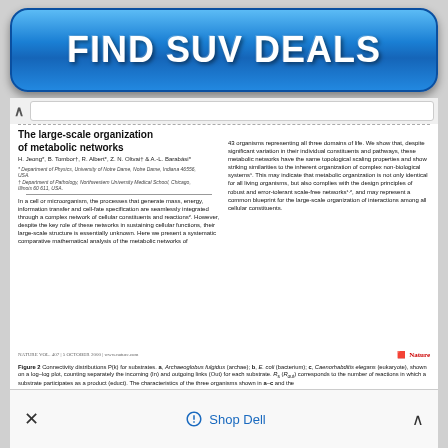[Figure (other): Blue gradient advertisement banner reading FIND SUV DEALS in large bold white text]
The large-scale organization of metabolic networks
H. Jeong*, B. Tombor†, R. Albert*, Z. N. Oltvai† & A.-L. Barabási*
* Department of Physics, University of Notre Dame, Notre Dame, Indiana 46556, USA.
† Department of Pathology, Northwestern University Medical School, Chicago, Illinois 60611, USA.
In a cell or microorganism, the processes that generate mass, energy, information transfer and cell-fate specification are seamlessly integrated through a complex network of cellular constituents and reactions². However, despite the key role of these networks in sustaining cellular functions, their large-scale structure is essentially unknown. Here we present a systematic comparative mathematical analysis of the metabolic networks of
43 organisms representing all three domains of life. We show that, despite significant variation in their individual constituents and pathways, these metabolic networks have the same topological scaling properties and show striking similarities to the inherent organization of complex non-biological systems¹. This may indicate that metabolic organization is not only identical for all living organisms, but also complies with the design principles of robust and error-tolerant scale-free networks¹·², and may represent a common blueprint for the large-scale organization of interactions among all cellular constituents.
Figure 2 Connectivity distributions P(k) for substrates. a, Archaeoglobus fulgidus (archae); b, E. coli (bacterium); c, Caenorhabditis elegans (eukaryote), shown on a log–log plot, counting separately the incoming (In) and outgoing links (Out) for each substrate. Rs (Rout) corresponds to the number of reactions in which a substrate participates as a product (educt). The characteristics of the three organisms shown in a–c and the